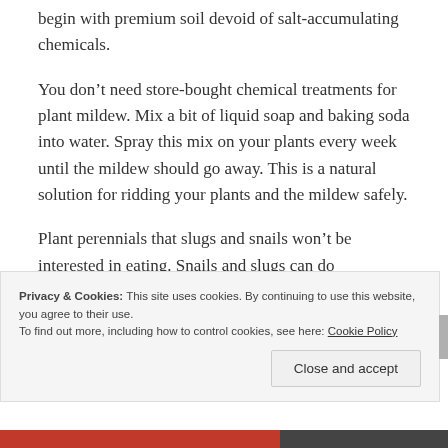begin with premium soil devoid of salt-accumulating chemicals.
You don’t need store-bought chemical treatments for plant mildew. Mix a bit of liquid soap and baking soda into water. Spray this mix on your plants every week until the mildew should go away. This is a natural solution for ridding your plants and the mildew safely.
Plant perennials that slugs and snails won’t be interested in eating. Snails and slugs can do irreparable damage to your garden in a single night. These pests are particularly fond of
Privacy & Cookies: This site uses cookies. By continuing to use this website, you agree to their use.
To find out more, including how to control cookies, see here: Cookie Policy